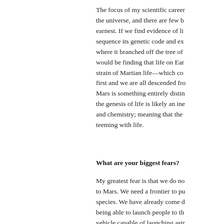The focus of my scientific career has been the universe, and there are few b... earnest. If we find evidence of li... sequence its genetic code and ex... where it branched off the tree of... would be finding that life on Ear... strain of Martian life—which co... first and we are all descended fro... Mars is something entirely distin... the genesis of life is likely an ine... and chemistry; meaning that the... teeming with life.
What are your biggest fears?
My greatest fear is that we do no... to Mars. We need a frontier to pu... species. We have already come d... being able to launch people to th... vehicle capable of launching astr...